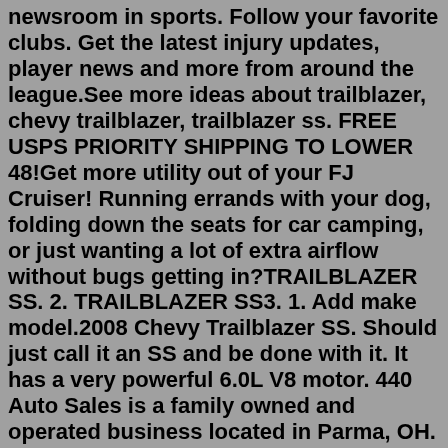newsroom in sports. Follow your favorite clubs. Get the latest injury updates, player news and more from around the league.See more ideas about trailblazer, chevy trailblazer, trailblazer ss. FREE USPS PRIORITY SHIPPING TO LOWER 48!Get more utility out of your FJ Cruiser! Running errands with your dog, folding down the seats for car camping, or just wanting a lot of extra airflow without bugs getting in?TRAILBLAZER SS. 2. TRAILBLAZER SS3. 1. Add make model.2008 Chevy Trailblazer SS. Should just call it an SS and be done with it. It has a very powerful 6.0L V8 motor. 440 Auto Sales is a family owned and operated business located in Parma, OH. Our mission is to offer quality Pre-owed vehicles at aggressive prices while providing great customer service.Search for used cars at carmax.com. Use our car search or research makes and models with customer reviews, expert reviews, and more.Meet the Trailblazers. Tap into an incredible source of inspiration to be your best. Dive into these stories of Trailblazers from all walks of life. Find...